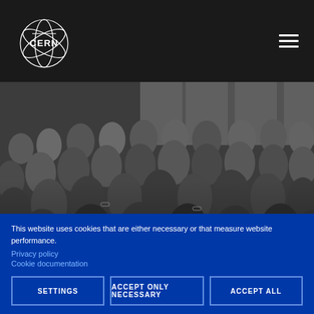[Figure (logo): CERN logo — white circular orbit design with CERN text on dark background]
[Figure (photo): Black and white photograph of a large audience of scientists seated in rows at a CERN lecture or conference, circa mid-20th century]
70 years of theoretical physics at CERN
At CERN  |  News  |  31 August, 2022
This website uses cookies that are either necessary or that measure website performance.
Privacy policy
Cookie documentation
SETTINGS
ACCEPT ONLY NECESSARY
ACCEPT ALL